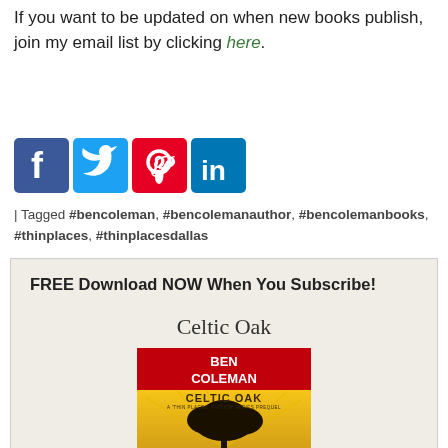If you want to be updated on when new books publish, join my email list by clicking here.
[Figure (infographic): Social media icons: Facebook (blue), Twitter (light blue), Pinterest (red), LinkedIn (dark blue)]
| Tagged #bencoleman, #bencolemanauthor, #bencolemanbooks, #thinplaces, #thinplacesdallas
FREE Download NOW When You Subscribe!
Celtic Oak
[Figure (illustration): Book cover for Celtic Oak by Ben Coleman. Top half is red with white bold text 'BEN COLEMAN'. Bottom half shows golden/yellow background with a silhouetted oak tree and text 'CELTIC OAK - A THIN PLACES FICTION SERIES PREQUEL'.]